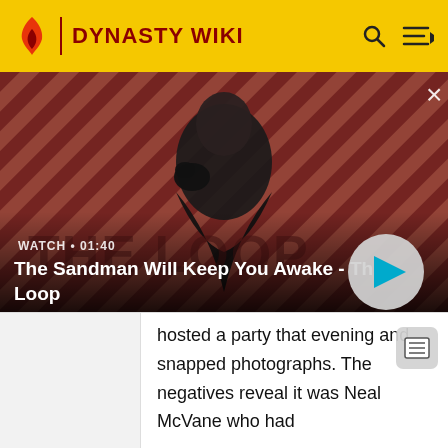DYNASTY WIKI
[Figure (screenshot): Video thumbnail showing a dark figure with a raven on shoulder against a red and black diagonal striped background. Text overlay: 'THE LOOP'. Watch label: 'WATCH • 01:40'. Title: 'The Sandman Will Keep You Awake - The Loop'. Play button visible on right side.]
hosted a party that evening and snapped photographs. The negatives reveal it was Neal McVane who had